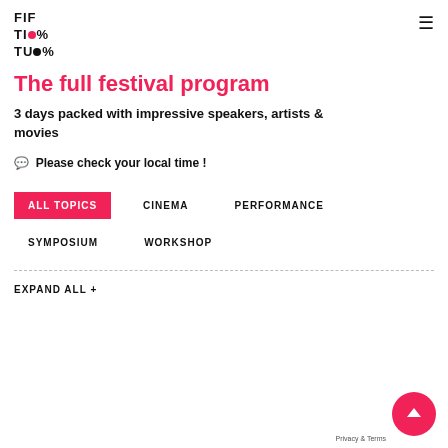FIFTITU%
The full festival program
3 days packed with impressive speakers, artists & movies
💬 Please check your local time !
ALL TOPICS   CINEMA   PERFORMANCE   SYMPOSIUM   WORKSHOP
EXPAND ALL +